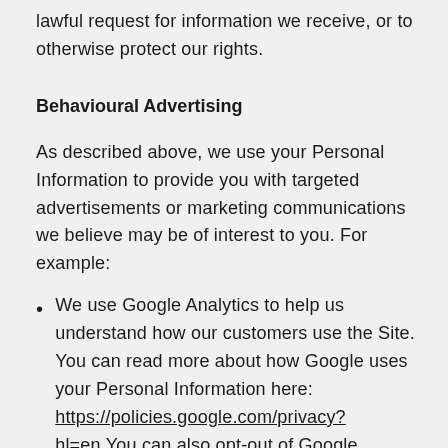lawful request for information we receive, or to otherwise protect our rights.
Behavioural Advertising
As described above, we use your Personal Information to provide you with targeted advertisements or marketing communications we believe may be of interest to you. For example:
We use Google Analytics to help us understand how our customers use the Site. You can read more about how Google uses your Personal Information here: https://policies.google.com/privacy?hl=en.You can also opt-out of Google Analytics here: https://tools.google.com/dlpage/gaoptout